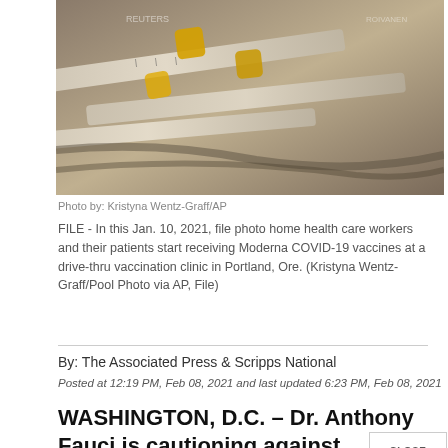[Figure (photo): Close-up photo of multiple syringes with yellow-capped needles, used for COVID-19 vaccines at a drive-thru vaccination clinic.]
Photo by: Kristyna Wentz-Graff/AP
FILE - In this Jan. 10, 2021, file photo home health care workers and their patients start receiving Moderna COVID-19 vaccines at a drive-thru vaccination clinic in Portland, Ore. (Kristyna Wentz-Graff/Pool Photo via AP, File)
By: The Associated Press & Scripps National
Posted at 12:19 PM, Feb 08, 2021 and last updated 6:23 PM, Feb 08, 2021
WASHINGTON, D.C. – Dr. Anthony Fauci is cautioning against deviating from the two-dose regimen for the approved coronavirus vaccines.